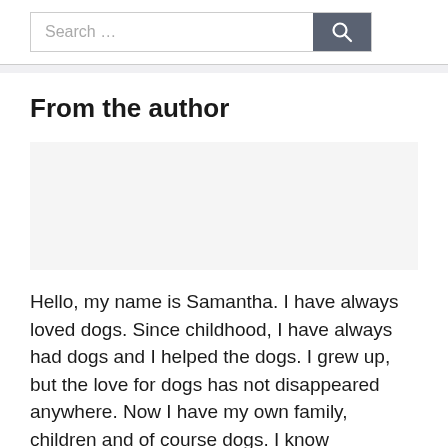Search …
From the author
[Figure (photo): Author photo placeholder (blank/grey area)]
Hello, my name is Samantha. I have always loved dogs. Since childhood, I have always had dogs and I helped the dogs. I grew up, but the love for dogs has not disappeared anywhere. Now I have my own family, children and of course dogs. I know something about dogs. I decided to…